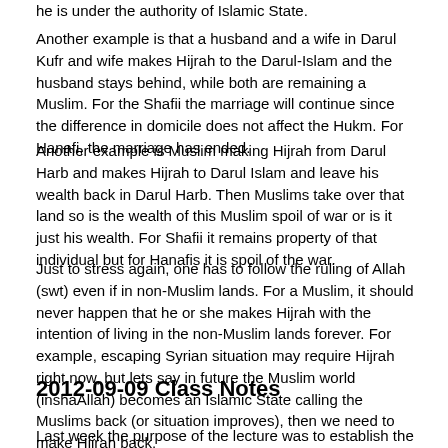he is under the authority of Islamic State.
Another example is that a husband and a wife in Darul Kufr and wife makes Hijrah to the Darul-Islam and the husband stays behind, while both are remaining a Muslim. For the Shafii the marriage will continue since the difference in domicile does not affect the Hukm. For Hanafi, the marriage has ended.
Another example is Muslim making Hijrah from Darul Harb and makes Hijrah to Darul Islam and leave his wealth back in Darul Harb. Then Muslims take over that land so is the wealth of this Muslim spoil of war or is it just his wealth. For Shafii it remains property of that individual but for Hanafis it is spoil of the war.
Just to stress again, one has to follow the ruling of Allah (swt) even if in non-Muslim lands. For a Muslim, it should never happen that he or she makes Hijrah with the intention of living in the non-Muslim lands forever. For example, escaping Syrian situation may require Hijrah right now, but lets say in future the Muslim world (inshaAllah) becomes an Islamic State calling the Muslims back (or situation improves), then we need to make Hijrah back.
2012-09-09 Class Notes
Last week the purpose of the lecture was to establish the fact that